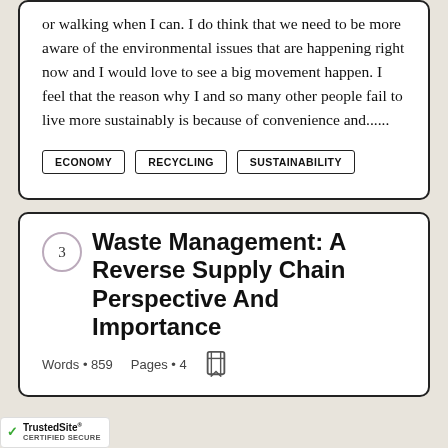or walking when I can. I do think that we need to be more aware of the environmental issues that are happening right now and I would love to see a big movement happen. I feel that the reason why I and so many other people fail to live more sustainably is because of convenience and......
ECONOMY
RECYCLING
SUSTAINABILITY
Waste Management: A Reverse Supply Chain Perspective And Importance
Words • 859   Pages • 4